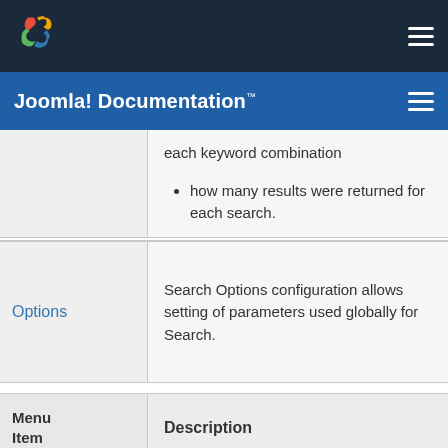Joomla! Documentation™
each keyword combination
how many results were returned for each search.
Options — Search Options configuration allows setting of parameters used globally for Search.
| Menu Item | Description |
| --- | --- |